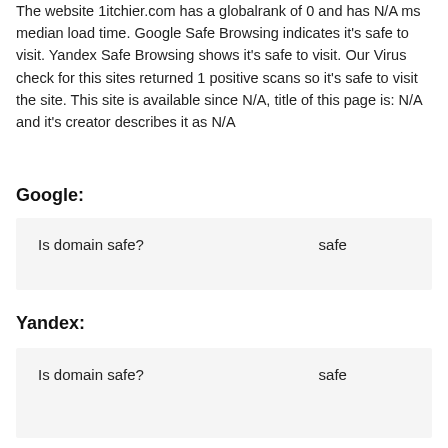The website 1itchier.com has a globalrank of 0 and has N/A ms median load time. Google Safe Browsing indicates it's safe to visit. Yandex Safe Browsing shows it's safe to visit. Our Virus check for this sites returned 1 positive scans so it's safe to visit the site. This site is available since N/A, title of this page is: N/A and it's creator describes it as N/A
Google:
| Is domain safe? | safe |
Yandex:
| Is domain safe? | safe |